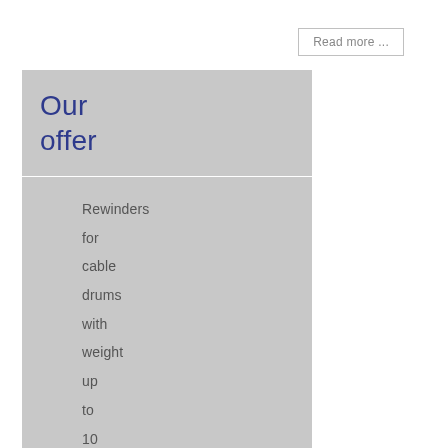Read more ...
Our offer
Rewinders for cable drums with weight up to 10 tons and diameter up to 3 meters